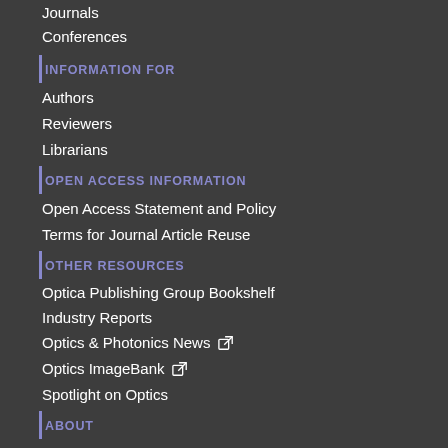Journals
Conferences
INFORMATION FOR
Authors
Reviewers
Librarians
OPEN ACCESS INFORMATION
Open Access Statement and Policy
Terms for Journal Article Reuse
OTHER RESOURCES
Optica Publishing Group Bookshelf
Industry Reports
Optics & Photonics News [external link]
Optics ImageBank [external link]
Spotlight on Optics
ABOUT